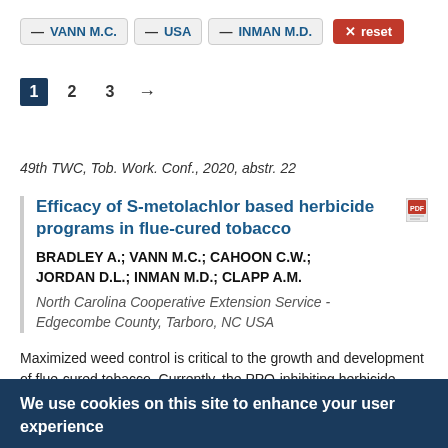— VANN M.C.   — USA   — INMAN M.D.   × reset
1  2  3  →
49th TWC, Tob. Work. Conf., 2020, abstr. 22
Efficacy of S-metolachlor based herbicide programs in flue-cured tobacco
BRADLEY A.; VANN M.C.; CAHOON C.W.; JORDAN D.L.; INMAN M.D.; CLAPP A.M.
North Carolina Cooperative Extension Service - Edgecombe County, Tarboro, NC USA
Maximized weed control is critical to the growth and development of flue-cured tobacco. Currently, the PPO-inhibiting herbicide sulfentrazone is the primary control option for Amaranthus, Cyperus, and Ipomea weed species. With the current risk of...
We use cookies on this site to enhance your user experience